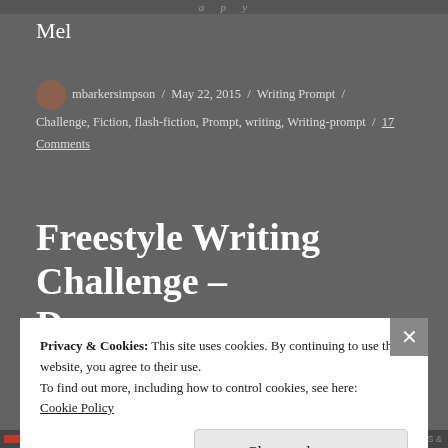Mel
mbarkersimpson / May 22, 2015 / Writing Prompt / Challenge, Fiction, flash-fiction, Prompt, writing, Writing-prompt / 17 Comments
Freestyle Writing Challenge – Dreamscape
Privacy & Cookies: This site uses cookies. By continuing to use this website, you agree to their use. To find out more, including how to control cookies, see here: Cookie Policy
Close and accept